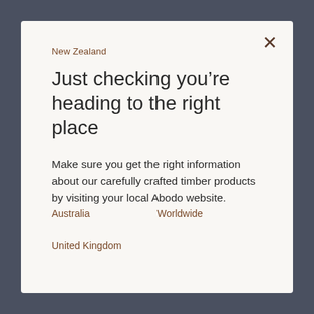New Zealand
Just checking you’re heading to the right place
Make sure you get the right information about our carefully crafted timber products by visiting your local Abodo website.
Australia
Worldwide
United Kingdom